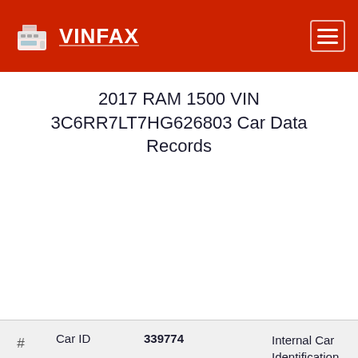VINFAX
2017 RAM 1500 VIN 3C6RR7LT7HG626803 Car Data Records
| # | Field | Value | Description |
| --- | --- | --- | --- |
| # | Car ID | 339774 | Internal Car Identification Number |
| 🏠 | Make | RAM | The name of car manufacturer |
| 🏷 | Model | 1500 | Model of a car |
| △ | Trim | Big Horn Crew Cab | Car Trim |